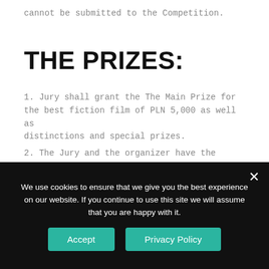cannot be submitted to the Competition.
THE PRIZES:
1. Jury shall grant the The Main Prize for the best fiction film of PLN 5,000 as well as distinctions and special prizes.
2. The Jury and the organizer have the right  to change the division of the prizes or not to give any.
We use cookies to ensure that we give you the best experience on our website. If you continue to use this site we will assume that you are happy with it.